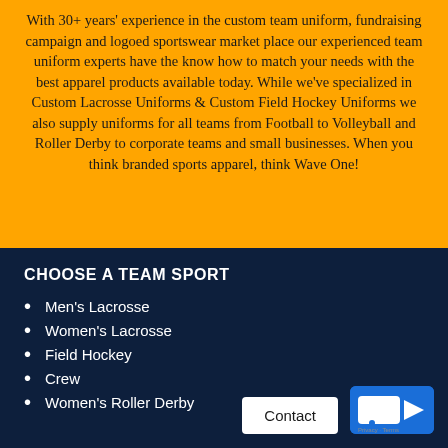With 30+ years' experience in the custom team uniform, fundraising campaign and logoed sportswear market place our experienced team uniform experts have the know how to match your needs with the best apparel products available today. While we've specialized in Custom Lacrosse Uniforms & Custom Field Hockey Uniforms we also supply uniforms for all teams from Football to Volleyball and Roller Derby to corporate teams and small businesses. When you think branded sports apparel, think Wave One!
CHOOSE A TEAM SPORT
Men's Lacrosse
Women's Lacrosse
Field Hockey
Crew
Women's Roller Derby